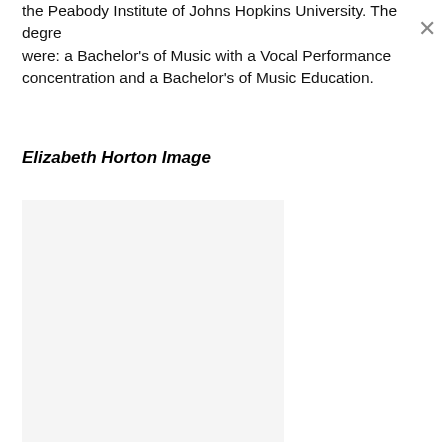the Peabody Institute of Johns Hopkins University. The degrees were: a Bachelor's of Music with a Vocal Performance concentration and a Bachelor's of Music Education.
Elizabeth Horton Image
[Figure (photo): Placeholder image area for Elizabeth Horton photo, light gray background]